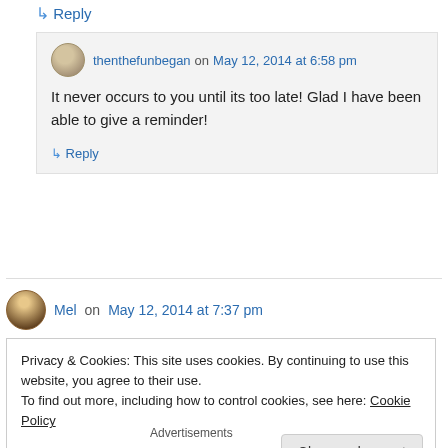↳ Reply
thenthefunbegan on May 12, 2014 at 6:58 pm
It never occurs to you until its too late! Glad I have been able to give a reminder!
↳ Reply
Mel on May 12, 2014 at 7:37 pm
Privacy & Cookies: This site uses cookies. By continuing to use this website, you agree to their use.
To find out more, including how to control cookies, see here: Cookie Policy
Close and accept
Advertisements